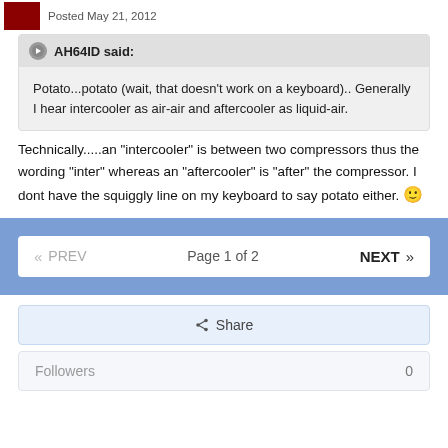Posted May 21, 2012
AH64ID said:
Potato...potato (wait, that doesn't work on a keyboard).. Generally I hear intercooler as air-air and aftercooler as liquid-air.
Technically.....an "intercooler" is between two compressors thus the wording "inter" whereas an "aftercooler" is "after" the compressor. I dont have the squiggly line on my keyboard to say potato either. 🙂
« PREV   Page 1 of 2   NEXT »
Share
Followers   0